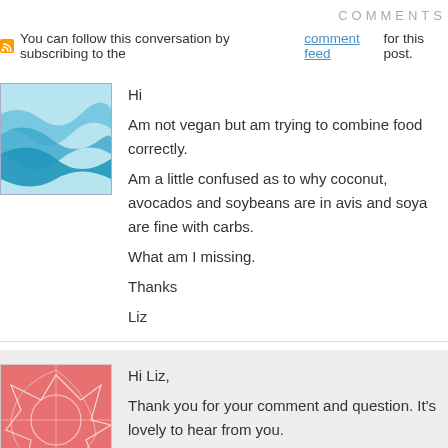COMMENTS
You can follow this conversation by subscribing to the comment feed for this post.
Hi
Am not vegan but am trying to combine food correctly.
Am a little confused as to why coconut, avocados and soybeans are in avis and soya are fine with carbs.
What am I missing.
Thanks
Liz
Hi Liz,
Thank you for your comment and question. It's lovely to hear from you. These items are significant sources of protein, thus, why they're in the if they cause digestive issue or not. Everyone is different in what work